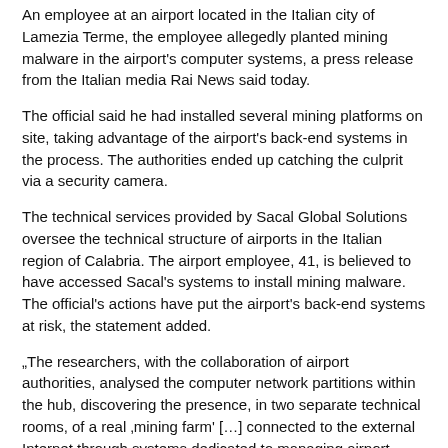An employee at an airport located in the Italian city of Lamezia Terme, the employee allegedly planted mining malware in the airport's computer systems, a press release from the Italian media Rai News said today.
The official said he had installed several mining platforms on site, taking advantage of the airport's back-end systems in the process. The authorities ended up catching the culprit via a security camera.
The technical services provided by Sacal Global Solutions oversee the technical structure of airports in the Italian region of Calabria. The airport employee, 41, is believed to have accessed Sacal's systems to install mining malware. The official's actions have put the airport's back-end systems at risk, the statement added.
„The researchers, with the collaboration of airport authorities, analysed the computer network partitions within the hub, discovering the presence, in two separate technical rooms, of a real ‘mining farm’ […] connected to the external Internet through systems dedicated to managing airport services and powered by the airport's electricity supply,” reported Rai News, adding: